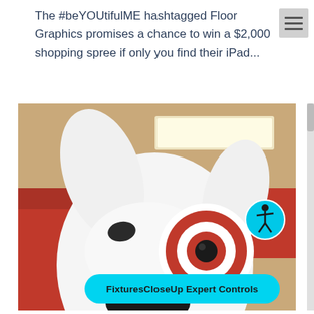The #beYOUtifulME hashtagged Floor Graphics promises a chance to win a $2,000 shopping spree if only you find their iPad...
[Figure (photo): Close-up photo of the Target mascot dog (Bullseye), a white bull terrier with a red and white bullseye target painted around its eye, inside what appears to be a Target retail store with red shelving/signage visible in the background. A cyan accessibility icon badge is overlaid in the upper right of the photo, and a cyan pill-shaped button reading 'FixturesCloseUp Expert Controls' appears at the bottom of the image.]